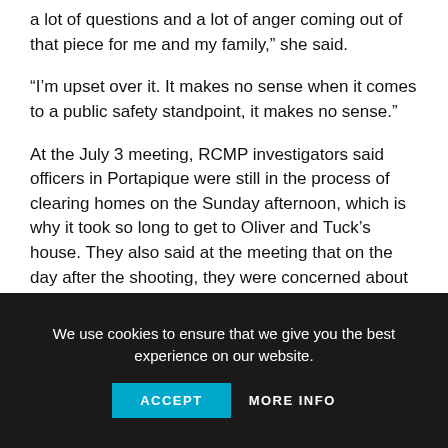a lot of questions and a lot of anger coming out of that piece for me and my family,” she said.
“I’m upset over it. It makes no sense when it comes to a public safety standpoint, it makes no sense.”
At the July 3 meeting, RCMP investigators said officers in Portapique were still in the process of clearing homes on the Sunday afternoon, which is why it took so long to get to Oliver and Tuck’s house. They also said at the meeting that on the day after the shooting, they were concerned about properly identifying victims and not releasing incorrect information.
We use cookies to ensure that we give you the best experience on our website.
ACCEPT   MORE INFO